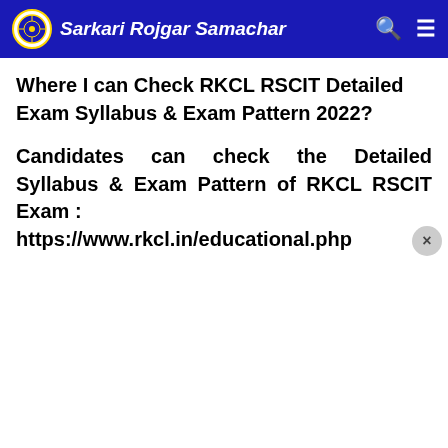Sarkari Rojgar Samachar
Where I can Check RKCL RSCIT Detailed Exam Syllabus & Exam Pattern 2022?
Candidates can check the Detailed Syllabus & Exam Pattern of RKCL RSCIT Exam : https://www.rkcl.in/educational.php